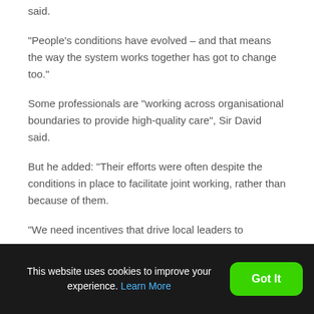said.
“People’s conditions have evolved – and that means the way the system works together has got to change too.”
Some professionals are “working across organisational boundaries to provide high-quality care”, Sir David said.
But he added: “Their efforts were often despite the conditions in place to facilitate joint working, rather than because of them.
“We need incentives that drive local leaders to
This website uses cookies to improve your experience. Learn More